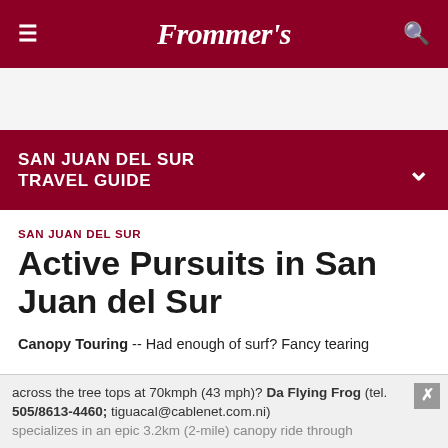Frommer's
SAN JUAN DEL SUR TRAVEL GUIDE
SAN JUAN DEL SUR
Active Pursuits in San Juan del Sur
Canopy Touring -- Had enough of surf? Fancy tearing across the tree tops at 70kmph (43 mph)? Da Flying Frog (tel. 505/8613-4460; tiguacal@cablenet.com.ni) specializes in an epic 3.2km (2-mile) canopy ride through